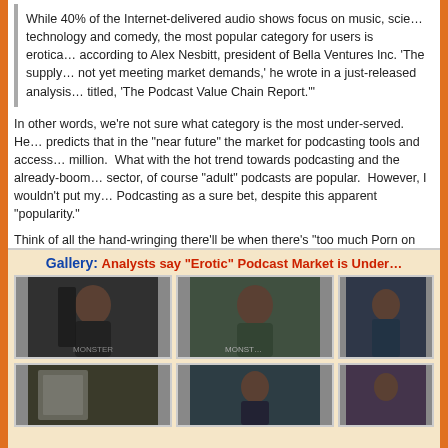While 40% of the Internet-delivered audio shows focus on music, science, technology and comedy, the most popular category for users is erotica, according to Alex Nesbitt, president of Bella Ventures Inc. 'The supply is not yet meeting market demands,' he wrote in a just-released analysis titled, 'The Podcast Value Chain Report.'"
In other words, we're not sure what category is the most under-served. He predicts that in the "near future" the market for podcasting tools and accessories will exceed $100 million. What with the hot trend towards podcasting and the already-booming adult entertainment sector, of course "adult" podcasts are popular. However, I wouldn't put my money into Erotic Podcasting as a sure bet, despite this apparent "popularity."
Think of all the hand-wringing there'll be when there's "too much Porn on th...
Read More | MacDailyNews
Gallery: Analysts say "Erotic" Podcast Market is Under...
[Figure (photo): Photo of a man holding a device, in front of Monster audio equipment backdrop]
[Figure (photo): Photo of a man with Monster audio equipment backdrop]
[Figure (photo): Partially visible photo]
[Figure (photo): Partially visible photo row 2 left]
[Figure (photo): Partially visible photo row 2 center]
[Figure (photo): Partially visible photo row 2 right]